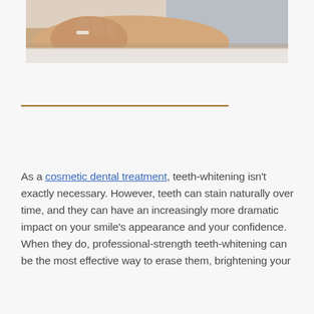[Figure (photo): Close-up photo of a person's arm and hand resting on a white surface, wearing a gray shirt]
As a cosmetic dental treatment, teeth-whitening isn't exactly necessary. However, teeth can stain naturally over time, and they can have an increasingly more dramatic impact on your smile's appearance and your confidence. When they do, professional-strength teeth-whitening can be the most effective way to erase them, brightening your